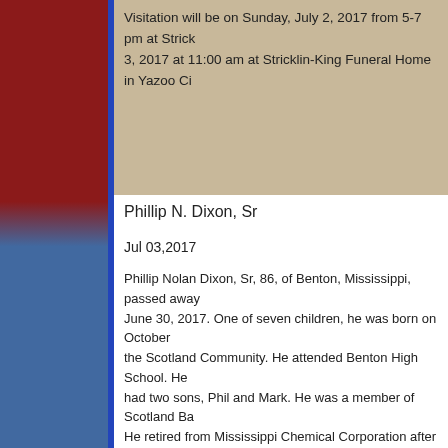Visitation will be on Sunday, July 2, 2017 from 5-7 pm at Stricklin-King Funeral Home. Services will be held July 3, 2017 at 11:00 am at Stricklin-King Funeral Home in Yazoo City.
Phillip N. Dixon, Sr
Jul 03,2017
Phillip Nolan Dixon, Sr, 86, of Benton, Mississippi, passed away June 30, 2017. One of seven children, he was born on October in the Scotland Community. He attended Benton High School. He had two sons, Phil and Mark. He was a member of Scotland Baptist Church. He retired from Mississippi Chemical Corporation after 33 years. He enjoyed the outdoors and being in the country. He always planted a large garden and shared with his friends . He and Louise also followed their grandchildren in high school and college. He was a strong believer in Jesus Christ and was preceded in death by his parents, James N. and Hazel Mize Dixon; son, Richard Dixon; sisters, Blakey, Vivian Kramer, Marie Trammell, and Shirley Netherland. Survivors include son Phil Dixon (Mary) of Benton, MS: three grandchildren: Jeremy Dixon, Kayla Lee, Austin Creel (Jarrad) of Yazoo County. He is also survived by seven great-grandchildren, Lane Kersten, Allan Lee, and Maddy Grace Lee. Also his sister-in-law brothers Thomas, Roy, and Troy Stricklin. Services will be held July 3, 2017...